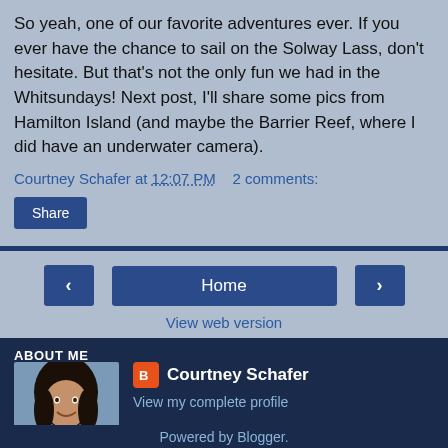So yeah, one of our favorite adventures ever. If you ever have the chance to sail on the Solway Lass, don't hesitate. But that's not the only fun we had in the Whitsundays! Next post, I'll share some pics from Hamilton Island (and maybe the Barrier Reef, where I did have an underwater camera).
Courtney Schafer at 12:07 PM    2 comments:
Share
‹
Home
›
View web version
ABOUT ME
[Figure (photo): Profile photo of Courtney Schafer, a woman with dark hair smiling]
Courtney Schafer
View my complete profile
Powered by Blogger.